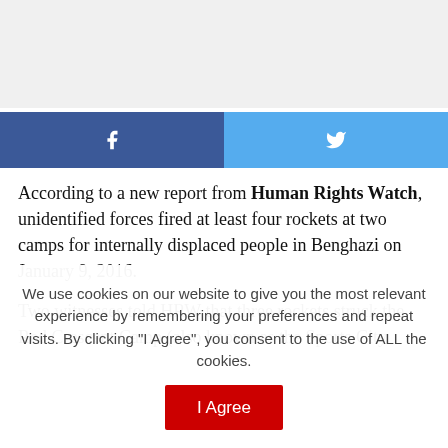[Figure (other): Gray advertisement placeholder banner]
[Figure (other): Social share buttons: Facebook (dark blue) and Twitter (light blue) side by side]
According to a new report from Human Rights Watch, unidentified forces fired at least four rockets at two camps for internally displaced people in Benghazi on January 9, 2016.
Two witnesses told HRW that three rockets struck the Red Crescent Camp (also known as the Sports City
We use cookies on our website to give you the most relevant experience by remembering your preferences and repeat visits. By clicking "I Agree", you consent to the use of ALL the cookies.